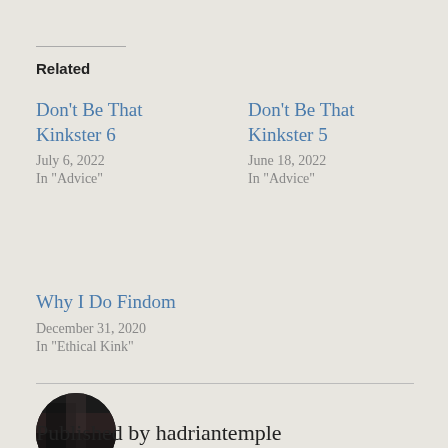Related
Don't Be That Kinkster 6
July 6, 2022
In "Advice"
Don't Be That Kinkster 5
June 18, 2022
In "Advice"
Why I Do Findom
December 31, 2020
In "Ethical Kink"
[Figure (photo): Circular avatar photo of the author hadriantemple, dark toned image]
Published by hadriantemple